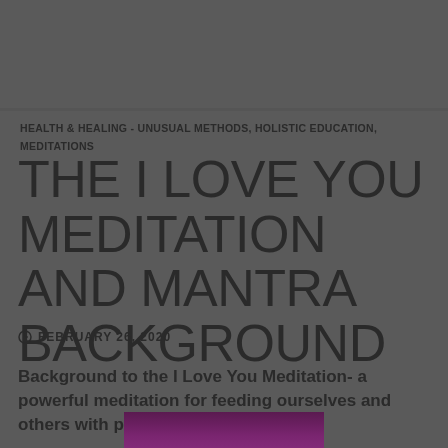HEALTH & HEALING - UNUSUAL METHODS, HOLISTIC EDUCATION, MEDITATIONS
THE I LOVE YOU MEDITATION AND MANTRA BACKGROUND
FEBRUARY 26, 2020
Background to the I Love You Meditation- a powerful meditation for feeding ourselves and others with pure energy ...
[Figure (photo): Partial view of a meditation-related image with purple/magenta tones, partially cropped at bottom of page]